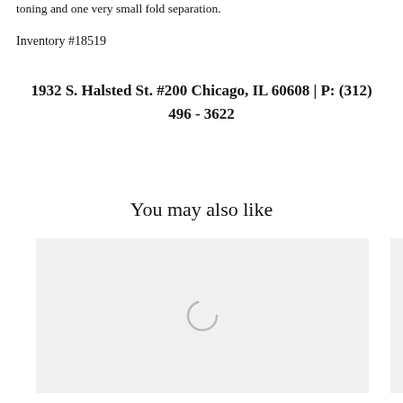toning and one very small fold separation.
Inventory #18519
1932 S. Halsted St. #200 Chicago, IL 60608 | P: (312) 496 - 3622
You may also like
[Figure (photo): Loading placeholder image with a spinner icon on a light grey background]